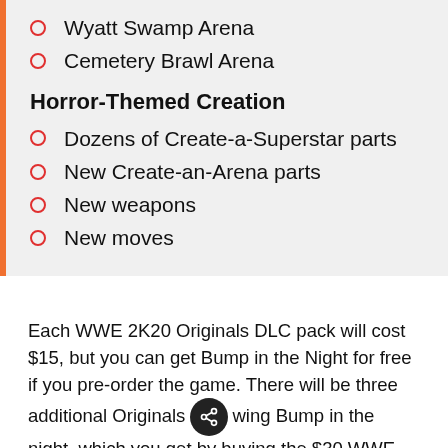Wyatt Swamp Arena
Cemetery Brawl Arena
Horror-Themed Creation
Dozens of Create-a-Superstar parts
New Create-an-Arena parts
New weapons
New moves
Each WWE 2K20 Originals DLC pack will cost $15, but you can get Bump in the Night for free if you pre-order the game. There will be three additional Originals following Bump in the night, which you get by buying the $30 WWE 2K20 Backstage Pass, the $90 WWE 2K20 Deluxe Edition, or by buying the packs ala carte.
WWE 2K20 throws down on PC, Xbox One, and PS4 on